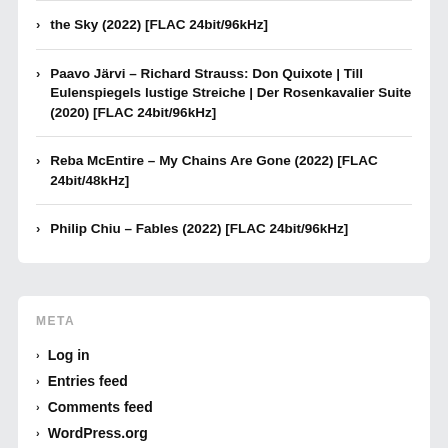the Sky (2022) [FLAC 24bit/96kHz]
Paavo Järvi – Richard Strauss: Don Quixote | Till Eulenspiegels lustige Streiche | Der Rosenkavalier Suite (2020) [FLAC 24bit/96kHz]
Reba McEntire – My Chains Are Gone (2022) [FLAC 24bit/48kHz]
Philip Chiu – Fables (2022) [FLAC 24bit/96kHz]
META
Log in
Entries feed
Comments feed
WordPress.org